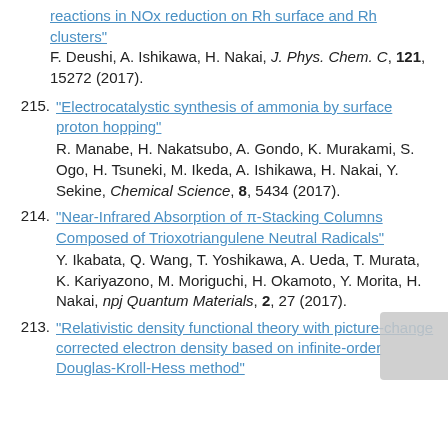reactions in NOx reduction on Rh surface and Rh clusters" F. Deushi, A. Ishikawa, H. Nakai, J. Phys. Chem. C, 121, 15272 (2017).
215. "Electrocatalystic synthesis of ammonia by surface proton hopping" R. Manabe, H. Nakatsubo, A. Gondo, K. Murakami, S. Ogo, H. Tsuneki, M. Ikeda, A. Ishikawa, H. Nakai, Y. Sekine, Chemical Science, 8, 5434 (2017).
214. "Near-Infrared Absorption of π-Stacking Columns Composed of Trioxotriangulene Neutral Radicals" Y. Ikabata, Q. Wang, T. Yoshikawa, A. Ueda, T. Murata, K. Kariyazono, M. Moriguchi, H. Okamoto, Y. Morita, H. Nakai, npj Quantum Materials, 2, 27 (2017).
213. "Relativistic density functional theory with picture-change corrected electron density based on infinite-order Douglas-Kroll-Hess method"